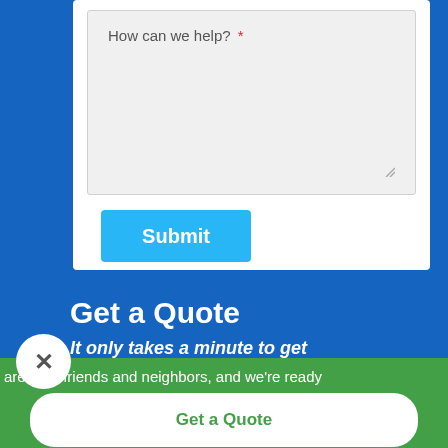How can we help? *
Submit
Get a Quote
It only takes a minute to get
are your friends and neighbors, and we're ready
Get a Quote
Contact Us